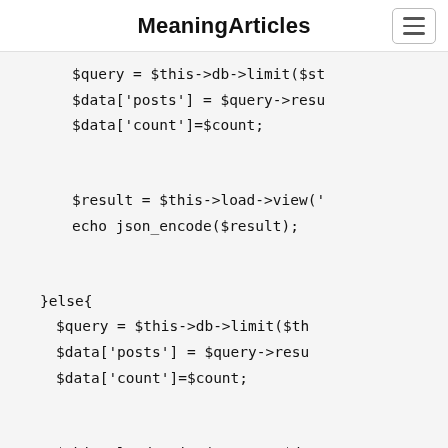MeaningArticles
$query = $this->db->limit($st
$data['posts'] = $query->resu
$data['count']=$count;

$result = $this->load->view('
echo json_encode($result);

}else{
    $query = $this->db->limit($th
    $data['posts'] = $query->resu
    $data['count']=$count;

    $this->load->view('post', $da